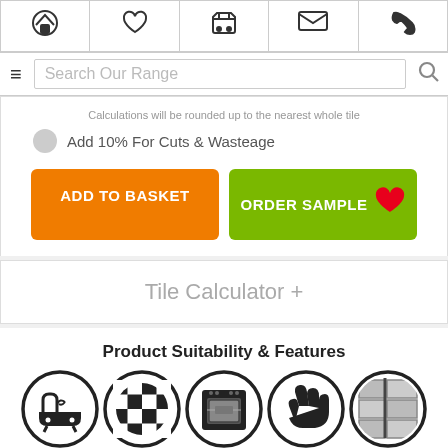[Figure (screenshot): Top navigation bar with home, heart/wishlist, basket, mail, and phone icons]
[Figure (screenshot): Search bar with hamburger menu icon and search field 'Search Our Range' with magnifier icon]
Calculations will be rounded up to the nearest whole tile
Add 10% For Cuts & Wasteage
[Figure (screenshot): Orange ADD TO BASKET button and green ORDER SAMPLE button with heart icon]
Tile Calculator +
Product Suitability & Features
[Figure (infographic): Five circular icons: bathtub/bathroom suitability, checkerboard floor tiles, oven/kitchen suitability, cleaning/maintenance, tile corner/wall suitability]
[Figure (logo): Tilesporcelain brand logo with yellow tile square icon followed by bold Tiles text and orange porcelain text]